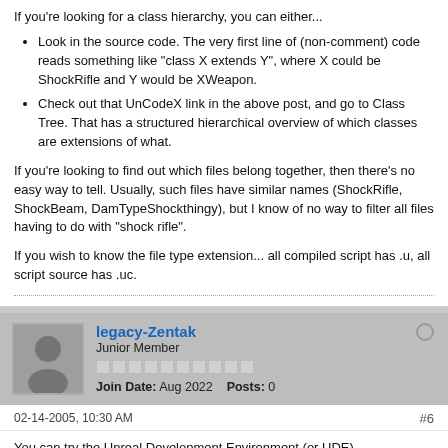If you're looking for a class hierarchy, you can either...
Look in the source code. The very first line of (non-comment) code reads something like "class X extends Y", where X could be ShockRifle and Y would be XWeapon.
Check out that UnCodeX link in the above post, and go to Class Tree. That has a structured hierarchical overview of which classes are extensions of what.
If you're looking to find out which files belong together, then there's no easy way to tell. Usually, such files have similar names (ShockRifle, ShockBeam, DamTypeShockthingy), but I know of no way to filter all files having to do with "shock rifle".
If you wish to know the file type extension... all compiled script has .u, all script source has .uc.
legacy-Zentak
Junior Member
Join Date: Aug 2022   Posts: 0
02-14-2005, 10:30 AM
#6
You can try the Unreal Development Environment (or UDE).
I stick with the sources. (also downloadable).